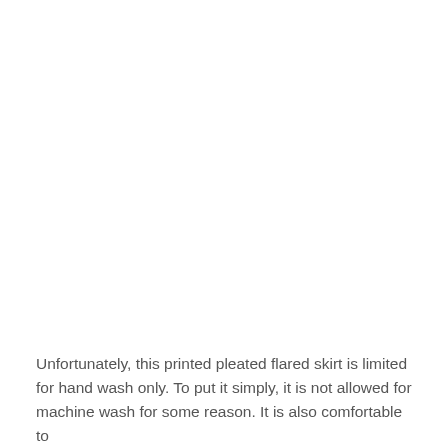Unfortunately, this printed pleated flared skirt is limited for hand wash only. To put it simply, it is not allowed for machine wash for some reason. It is also comfortable to